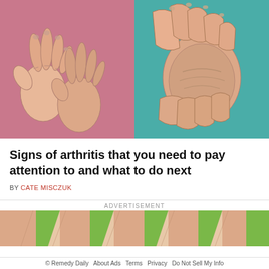[Figure (illustration): Two medical illustrations side by side: left shows two hands with arthritic joints on a pink background; right shows hands grasping a knee on a teal background.]
Signs of arthritis that you need to pay attention to and what to do next
BY CATE MISCZUK
ADVERTISEMENT
[Figure (illustration): Advertisement illustration showing legs with joint pain indicators on a peach/green background.]
© Remedy Daily   About Ads   Terms   Privacy   Do Not Sell My Info